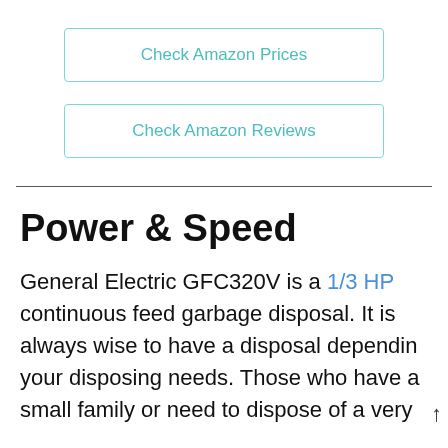Check Amazon Prices
Check Amazon Reviews
Power & Speed
General Electric GFC320V is a 1/3 HP continuous feed garbage disposal. It is always wise to have a disposal depending your disposing needs. Those who have a small family or need to dispose of a very